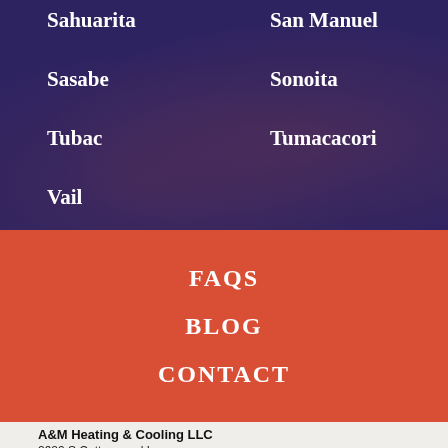Sahuarita
San Manuel
Sasabe
Sonoita
Tubac
Tumacacori
Vail
FAQS
BLOG
CONTACT
A&M Heating & Cooling LLC
2980 S Cottonwood Ln